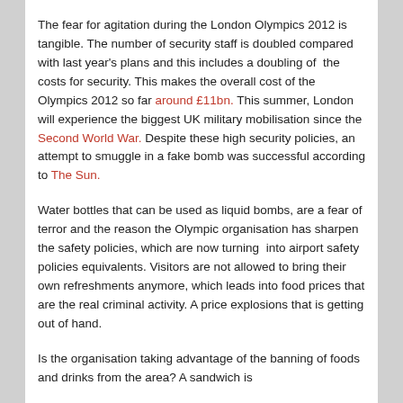The fear for agitation during the London Olympics 2012 is tangible. The number of security staff is doubled compared with last year's plans and this includes a doubling of  the costs for security. This makes the overall cost of the Olympics 2012 so far around £11bn. This summer, London will experience the biggest UK military mobilisation since the Second World War. Despite these high security policies, an attempt to smuggle in a fake bomb was successful according to The Sun.
Water bottles that can be used as liquid bombs, are a fear of terror and the reason the Olympic organisation has sharpen the safety policies, which are now turning  into airport safety policies equivalents. Visitors are not allowed to bring their own refreshments anymore, which leads into food prices that are the real criminal activity. A price explosions that is getting out of hand.
Is the organisation taking advantage of the banning of foods and drinks from the area? A sandwich is